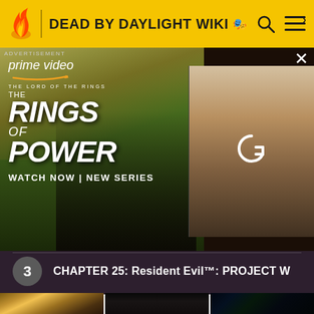DEAD BY DAYLIGHT WIKI
[Figure (screenshot): Amazon Prime Video advertisement for 'The Lord of the Rings: The Rings of Power' showing two characters in a cinematic landscape, with Prime Video logo and 'WATCH NOW | NEW SERIES' text. A secondary image panel shows blond figures with a reload icon overlay.]
3  CHAPTER 25: Resident Evil™: PROJECT W
[Figure (screenshot): Three thumbnail images at the bottom: a fantasy game character (animated, female warrior), a person with headphones in dark setting, and gaming peripherals with green/purple lighting]